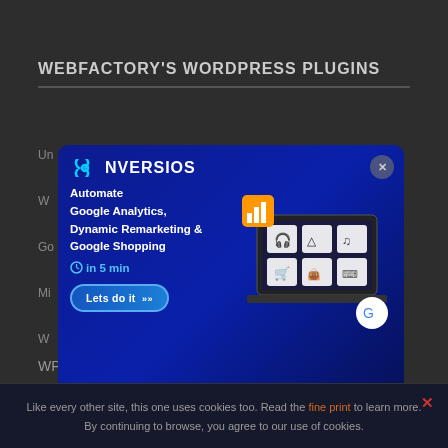WEBFACTORY'S WORDPRESS PLUGINS
Un...
W...
Go...
Mi...
W...
[Figure (screenshot): CONVERSIOS popup ad: Automate Google Analytics, Dynamic Remarketing & Google Shopping in 5 min. Shows a laptop with ecommerce icons. Button: Lets do it >>]
WP Sticky
Like every other site, this one uses cookies too. Read the fine print to learn more. By continuing to browse, you agree to our use of cookies.